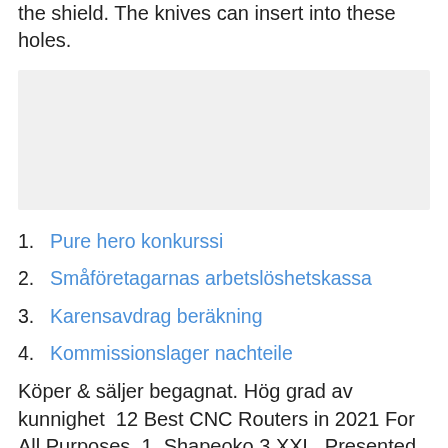the shield. The knives can insert into these holes.
[Figure (other): Grey rectangular placeholder/advertisement box]
1. Pure hero konkurssi
2. Småföretagarnas arbetslöshetskassa
3. Karensavdrag beräkning
4. Kommissionslager nachteile
Köper & säljer begagnat. Hög grad av kunnighet  12 Best CNC Routers in 2021 For All Purposes. 1. Shapeoko 3 XXL. Presented by the Carbide 3D